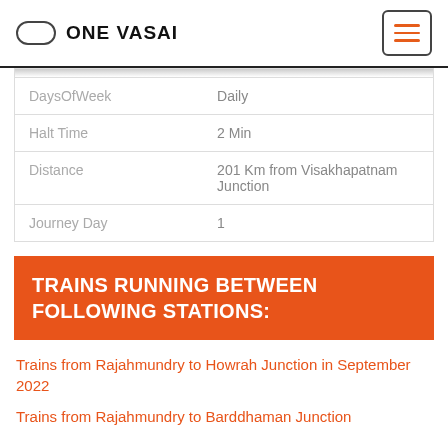ONE VASAI
| DaysOfWeek | Daily |
| Halt Time | 2 Min |
| Distance | 201 Km from Visakhapatnam Junction |
| Journey Day | 1 |
TRAINS RUNNING BETWEEN FOLLOWING STATIONS:
Trains from Rajahmundry to Howrah Junction in September 2022
Trains from Rajahmundry to Barddhaman Junction